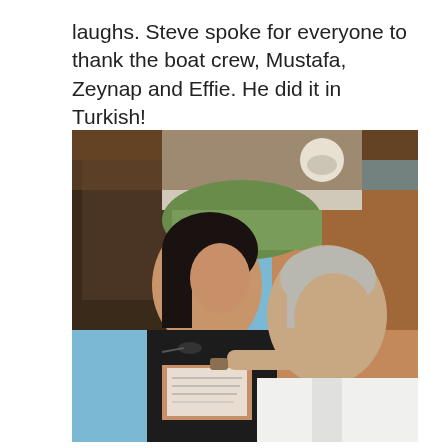laughs. Steve spoke for everyone to thank the boat crew, Mustafa, Zeynap and Effie. He did it in Turkish!
[Figure (photo): Two people sitting inside a boat cabin looking at a handwritten note. A woman with dark hair in a black top holds the note while an older man in a white shirt looks on. Rocky cliffs and blue sky visible through the boat windows in the background.]